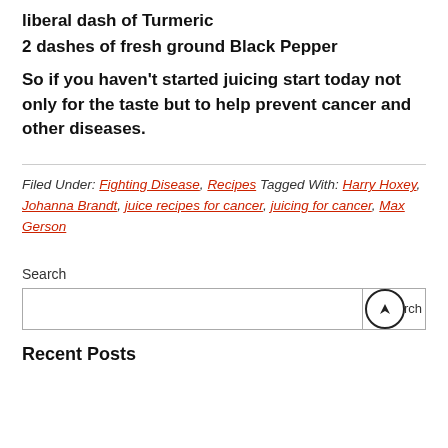liberal dash of Turmeric
2 dashes of fresh ground Black Pepper
So if you haven't started juicing start today not only for the taste but to help prevent cancer and other diseases.
Filed Under: Fighting Disease, Recipes Tagged With: Harry Hoxey, Johanna Brandt, juice recipes for cancer, juicing for cancer, Max Gerson
Search
Recent Posts